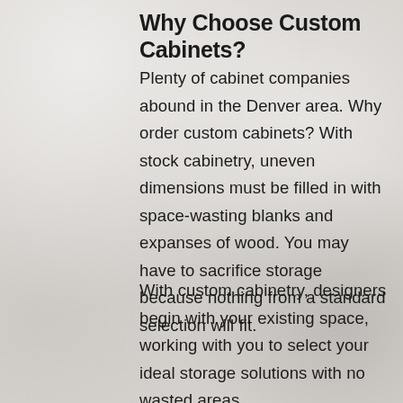Why Choose Custom Cabinets?
Plenty of cabinet companies abound in the Denver area. Why order custom cabinets? With stock cabinetry, uneven dimensions must be filled in with space-wasting blanks and expanses of wood. You may have to sacrifice storage because nothing from a standard selection will fit.
With custom cabinetry, designers begin with your existing space, working with you to select your ideal storage solutions with no wasted areas.